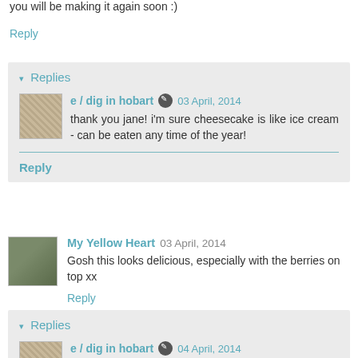you will be making it again soon :)
Reply
Replies
e / dig in hobart 03 April, 2014
thank you jane! i'm sure cheesecake is like ice cream - can be eaten any time of the year!
Reply
My Yellow Heart 03 April, 2014
Gosh this looks delicious, especially with the berries on top xx
Reply
Replies
e / dig in hobart 04 April, 2014